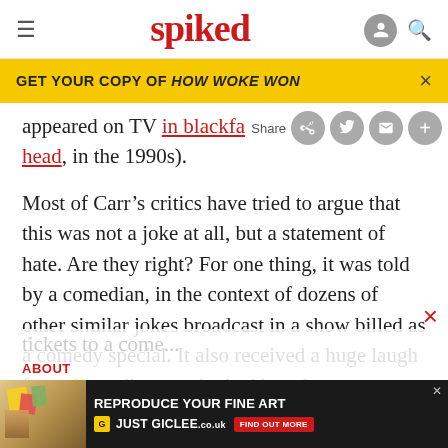spiked
GET YOUR COPY OF HOW WOKE WON
appeared on TV in blackface wi... head, in the 1990s).
Most of Carr’s critics have tried to argue that this was not a joke at all, but a statement of hate. Are they right? For one thing, it was told by a comedian, in the context of dozens of other similar jokes broadcast in a show billed as a comedy special. It also received a huge laugh from the audience, who had bought tickets...
ABOUT
[Figure (screenshot): Advertisement overlay: REPRODUCE YOUR FINE ART - JUST GICLEE - FIND OUT MORE]